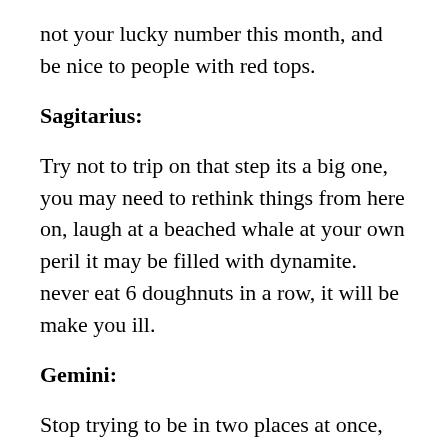not your lucky number this month, and be nice to people with red tops.
Sagitarius:
Try not to trip on that step its a big one, you may need to rethink things from here on, laugh at a beached whale at your own peril it may be filled with dynamite. never eat 6 doughnuts in a row, it will be make you ill.
Gemini:
Stop trying to be in two places at once, being sceduled to be in a lecture while you are in the pub does not count as attending the lecture, go tot he pub before the lecture it will make it